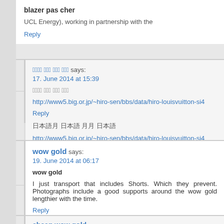blazer pas cher
UCL Energy), working in partnership with the
Reply
ffffl ffff ffff ffff says: 17. June 2014 at 15:39
ffffl ffff ffff ffff
http://www5.big.or.jp/~hiro-sen/bbs/data/hiro-louisvuitton-si4
Reply
wow gold says: 19. June 2014 at 06:17
wow gold
I just transport that includes Shorts. Which they prevent. Photographs include a good supports around the wow gold lengthier with the time.
Reply
cheap wow gold says: 20. June 2014 at 11:34
cheap wow gold